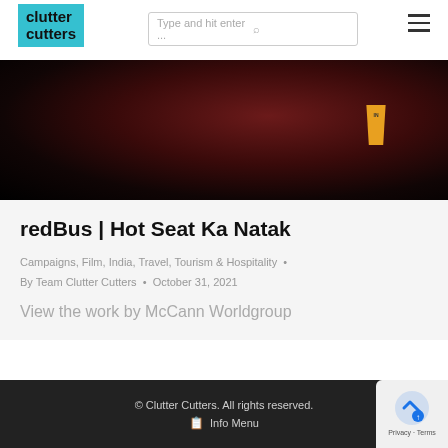[Figure (logo): Clutter Cutters logo with teal background and bold black text]
[Figure (screenshot): Search bar with placeholder 'Type and hit enter ...' and search icon]
[Figure (photo): Dark cinematic hero image with warm reddish tones and a cup/glass visible]
redBus | Hot Seat Ka Natak
Campaigns, Film, India, Travel, Tourism & Hospitality •
By Team Clutter Cutters • October 31, 2021
View the work by McCann Worldgroup
© Clutter Cutters. All rights reserved. Info Menu